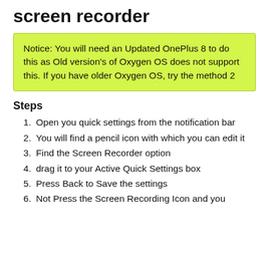screen recorder
Notice: You will need an Updated OnePlus 8 to do this as Old version's of Oxygen OS does not support this. If you have older Oxygen OS, try the method 2
Steps
Open you quick settings from the notification bar
You will find a pencil icon with which you can edit it
Find the Screen Recorder option
drag it to your Active Quick Settings box
Press Back to Save the settings
Not Press the Screen Recording Icon and you